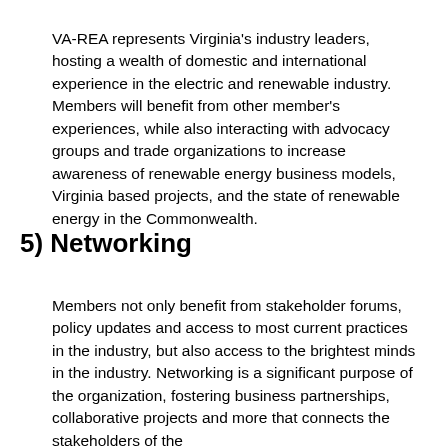VA-REA represents Virginia's industry leaders, hosting a wealth of domestic and international experience in the electric and renewable industry. Members will benefit from other member's experiences, while also interacting with advocacy groups and trade organizations to increase awareness of renewable energy business models, Virginia based projects, and the state of renewable energy in the Commonwealth.
5) Networking
Members not only benefit from stakeholder forums, policy updates and access to most current practices in the industry, but also access to the brightest minds in the industry. Networking is a significant purpose of the organization, fostering business partnerships, collaborative projects and more that connects the stakeholders of the...